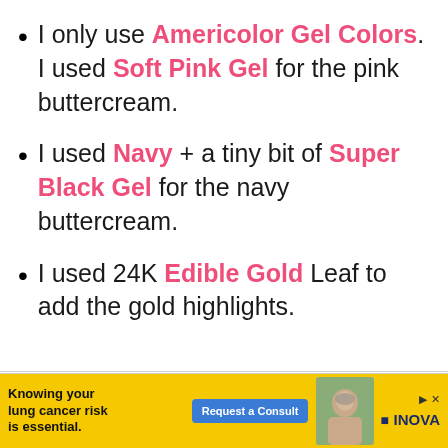I only use Americolor Gel Colors. I used Soft Pink Gel for the pink buttercream.
I used Navy + a tiny bit of Super Black Gel for the navy buttercream.
I used 24K Edible Gold Leaf to add the gold highlights.
[Figure (other): Advertisement banner: Knowing your lung cancer risk is essential. Request a Consult button. INOVA logo. Photo of older man.]